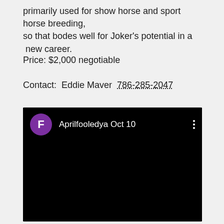primarily used for show horse and sport horse breeding, so that bodes well for Joker’s potential in a  new career.
Price: $2,000 negotiable
Contact:  Eddie Maver  786-285-2047
[Figure (screenshot): A mobile app screenshot showing a black background with a user named 'Aprilfooledya' posting on Oct 10. The avatar is a purple circle with the letter F.]